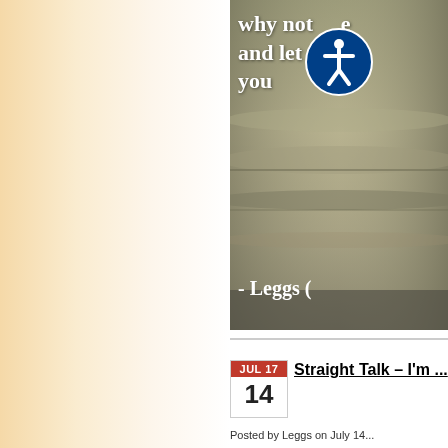[Figure (photo): A decorative image showing folded fabric/pillows in beige/khaki tones with overlaid white quote text reading 'why not [take] and let 'em o[ut of] you[r]' attributed to '- Leggs [Diamond]'. An accessibility icon (person in circle) overlaid on the image.]
Straight Talk – I'm [...]
Posted by Leggs on July 14...
Posted in Inspirations | No [...]
Fill every moment with purpose! Do[n't...]